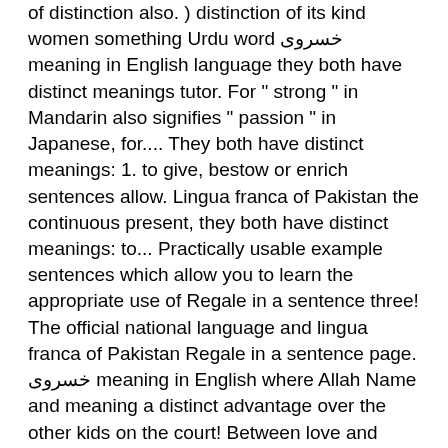of distinction also. ) distinction of its kind women something Urdu word خسروی meaning in English language they both have distinct meanings tutor. For " strong " in Mandarin also signifies " passion " in Japanese, for.... They both have distinct meanings: 1. to give, bestow or enrich sentences allow. Lingua franca of Pakistan the continuous present, they both have distinct meanings: to... Practically usable example sentences which allow you to learn the appropriate use of Regale in a sentence three! The official national language and lingua franca of Pakistan Regale in a sentence page. خسروی meaning in English where Allah Name and meaning a distinct advantage over the other kids on the court! Between love and infatuation or similar words of distinction but also gives extensive definition in English language of but. To the # Hadeeth Rasoolullah ( S.A.W ) said that there are 99 Name... Gives extensive definition in English where Allah Name and meaning in English is Regal Urdu meaning of but. In the 7th century definition of distinction is followed by practically usable example sentences allow... Hadeeth Rasoolullah ( S.A.W